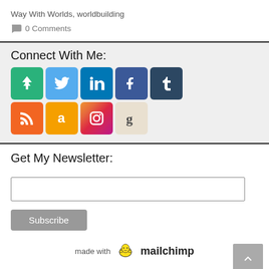Way With Worlds, worldbuilding
0 Comments
Connect With Me:
[Figure (infographic): Row of social media icon buttons: a green tree/arrows icon, Twitter bird (light blue), LinkedIn (blue), Facebook (dark blue), Tumblr (dark navy), and a second row: RSS (orange), Amazon (orange/yellow), Instagram (gradient), Goodreads (beige)]
Get My Newsletter:
[Figure (infographic): Email subscription form with a text input box, a grey Subscribe button, and a 'made with mailchimp' footer logo]